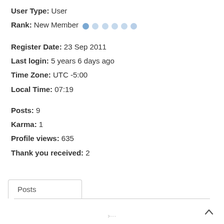User Type: User
Rank: New Member ●○○○○
Register Date: 23 Sep 2011
Last login: 5 years 6 days ago
Time Zone: UTC -5:00
Local Time: 07:19
Posts: 9
Karma: 1
Profile views: 635
Thank you received: 2
Posts